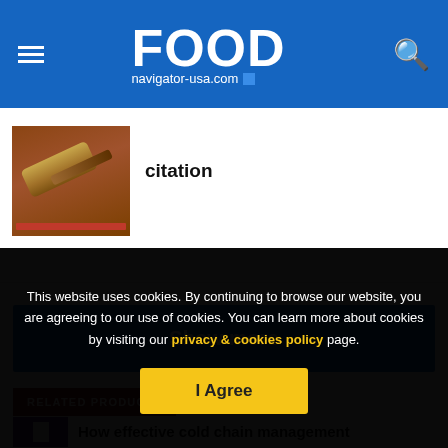FOOD navigator-usa.com
citation
[Figure (photo): A wooden gavel on a surface, suggesting legal or regulatory context]
Show more
RELATED PRODUCTS
How effective cold chain management
This website uses cookies. By continuing to browse our website, you are agreeing to our use of cookies. You can learn more about cookies by visiting our privacy & cookies policy page.
I Agree